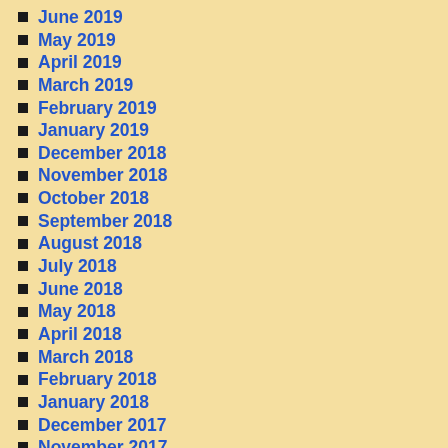June 2019
May 2019
April 2019
March 2019
February 2019
January 2019
December 2018
November 2018
October 2018
September 2018
August 2018
July 2018
June 2018
May 2018
April 2018
March 2018
February 2018
January 2018
December 2017
November 2017
October 2017
September 2017
August 2017
July 2017
June 2017